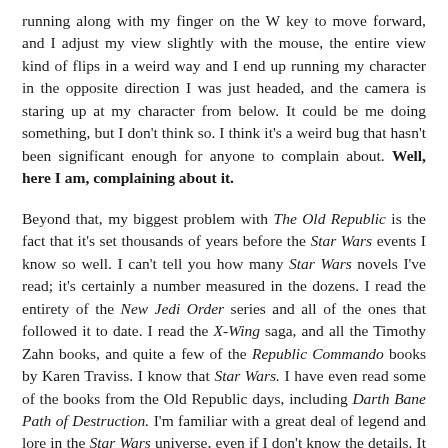running along with my finger on the W key to move forward, and I adjust my view slightly with the mouse, the entire view kind of flips in a weird way and I end up running my character in the opposite direction I was just headed, and the camera is staring up at my character from below. It could be me doing something, but I don't think so. I think it's a weird bug that hasn't been significant enough for anyone to complain about. Well, here I am, complaining about it.
Beyond that, my biggest problem with The Old Republic is the fact that it's set thousands of years before the Star Wars events I know so well. I can't tell you how many Star Wars novels I've read; it's certainly a number measured in the dozens. I read the entirety of the New Jedi Order series and all of the ones that followed it to date. I read the X-Wing saga, and all the Timothy Zahn books, and quite a few of the Republic Commando books by Karen Traviss. I know that Star Wars. I have even read some of the books from the Old Republic days, including Darth Bane Path of Destruction. I'm familiar with a great deal of legend and lore in the Star Wars universe, even if I don't know the details. It would have been entirely possible to make a game called The Old Republic that was set much closer to the more modern events, but